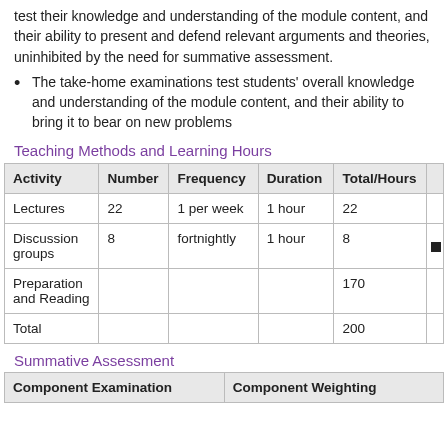test their knowledge and understanding of the module content, and their ability to present and defend relevant arguments and theories, uninhibited by the need for summative assessment.
The take-home examinations test students' overall knowledge and understanding of the module content, and their ability to bring it to bear on new problems
Teaching Methods and Learning Hours
| Activity | Number | Frequency | Duration | Total/Hours |
| --- | --- | --- | --- | --- |
| Lectures | 22 | 1 per week | 1 hour | 22 |
| Discussion groups | 8 | fortnightly | 1 hour | 8 |
| Preparation and Reading |  |  |  | 170 |
| Total |  |  |  | 200 |
Summative Assessment
| Component Examination | Component Weighting |
| --- | --- |